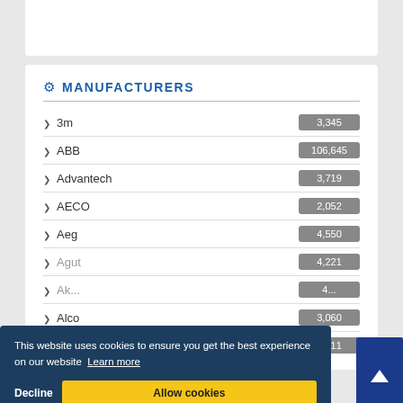MANUFACTURERS
3m  3,345
ABB  106,645
Advantech  3,719
AECO  2,052
Aeg  4,550
Agut  4,221
Ak...  4...
Alco Controls  3,060
Alco Controls  4,311
This website uses cookies to ensure you get the best experience on our website  Learn more
Decline  Allow cookies